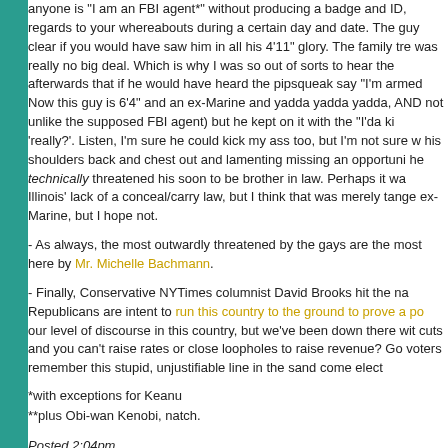anyone is "I am an FBI agent*" without producing a badge and ID, regards to your whereabouts during a certain day and date. The guy clear if you would have saw him in all his 4'11" glory. The family tre was really no big deal. Which is why I was so out of sorts to hear the afterwards that if he would have heard the pipsqueak say "I'm armed Now this guy is 6'4" and an ex-Marine and yadda yadda yadda, AND not unlike the supposed FBI agent) but he kept on it with the "I'da ki 'really?'. Listen, I'm sure he could kick my ass too, but I'm not sure w his shoulders back and chest out and lamenting missing an opportuni he technically threatened his soon to be brother in law. Perhaps it wa Illinois' lack of a conceal/carry law, but I think that was merely tange ex-Marine, but I hope not.
- As always, the most outwardly threatened by the gays are the most here by Mr. Michelle Bachmann.
- Finally, Conservative NYTimes columnist David Brooks hit the na Republicans are intent to run this country to the ground to prove a po our level of discourse in this country, but we've been down there wit cuts and you can't raise rates or close loopholes to raise revenue? Go voters remember this stupid, unjustifiable line in the sand come elect
*with exceptions for Keanu
**plus Obi-wan Kenobi, natch.
Posted 2:04pm
permalink - comments (3)